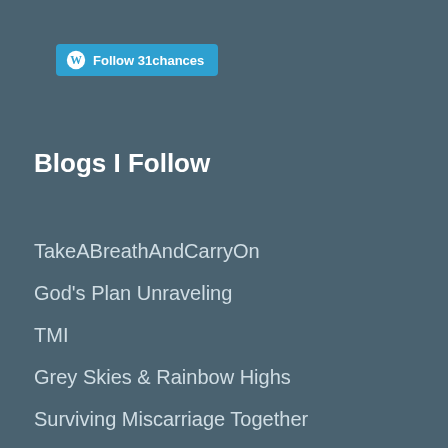Follow 31chances
Blogs I Follow
TakeABreathAndCarryOn
God's Plan Unraveling
TMI
Grey Skies & Rainbow Highs
Surviving Miscarriage Together
Katy's Life Story
Try Try Again
a life developing